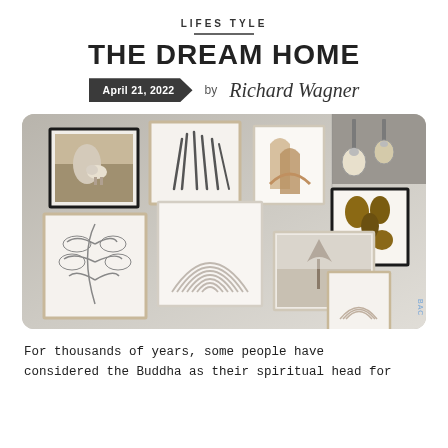LIFES TYLE
THE DREAM HOME
April 21, 2022  by Richard Wagner
[Figure (photo): Gallery wall with multiple framed artworks including abstract prints, line art, a landscape photo with a lone tree, botanical art, and arch designs, hung on a beige wall with ceiling track lighting visible in the upper right corner.]
For thousands of years, some people have considered the Buddha as their spiritual head for